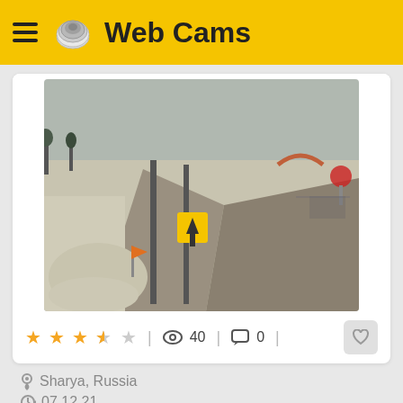Web Cams
[Figure (photo): Webcam screenshot of a snowy road intersection in Russia, with utility poles, a pedestrian crossing sign, and snow-covered ground visible from overhead angle.]
★★★½☆  |  👁 40  |  💬 0
📍 Sharya, Russia
🕐 07.12.21
[Figure (photo): Webcam screenshot of a snowy Russian town with a beige multi-story building and orange/yellow structure visible, with bare trees and snow-covered ground.]